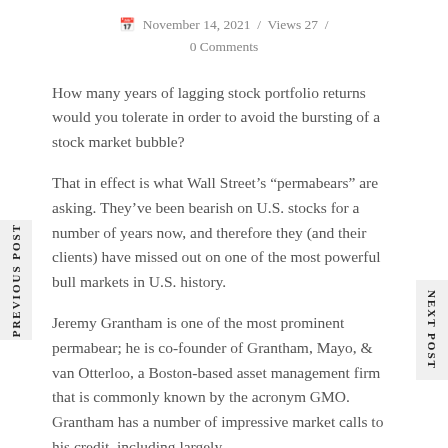November 14, 2021 / Views 27 / 0 Comments
How many years of lagging stock portfolio returns would you tolerate in order to avoid the bursting of a stock market bubble?
That in effect is what Wall Street’s “permabears” are asking. They’ve been bearish on U.S. stocks for a number of years now, and therefore they (and their clients) have missed out on one of the most powerful bull markets in U.S. history.
Jeremy Grantham is one of the most prominent permabear; he is co-founder of Grantham, Mayo, & van Otterloo, a Boston-based asset management firm that is commonly known by the acronym GMO. Grantham has a number of impressive market calls to his credit, including largely